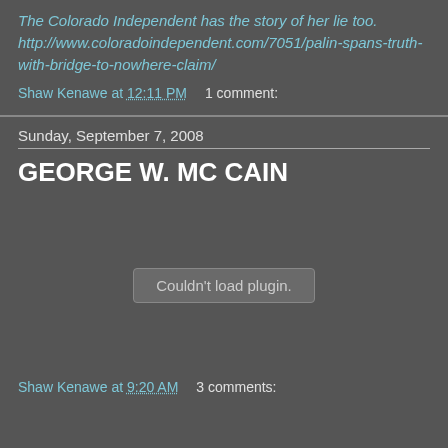The Colorado Independent has the story of her lie too. http://www.coloradoindependent.com/7051/palin-spans-truth-with-bridge-to-nowhere-claim/
Shaw Kenawe at 12:11 PM    1 comment:
Sunday, September 7, 2008
GEORGE W. MC CAIN
[Figure (other): Embedded plugin/media placeholder showing 'Couldn't load plugin.']
Shaw Kenawe at 9:20 AM    3 comments: